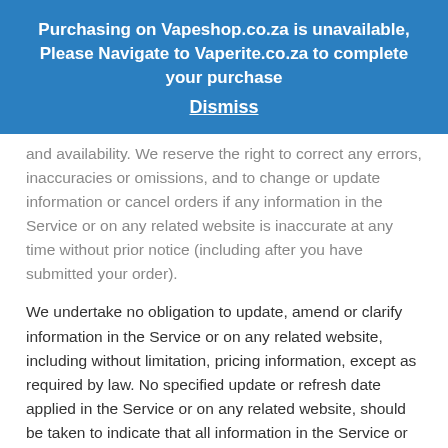Purchasing on Vapeshop.co.za is unavailable, Please Navigate to Vaperite.co.za to complete your purchase
Dismiss
and availability. We reserve the right to correct any errors, inaccuracies or omissions, and to change or update information or cancel orders if any information in the Service or on any related website is inaccurate at any time without prior notice (including after you have submitted your order).
We undertake no obligation to update, amend or clarify information in the Service or on any related website, including without limitation, pricing information, except as required by law. No specified update or refresh date applied in the Service or on any related website, should be taken to indicate that all information in the Service or on any related website has been modified or updated